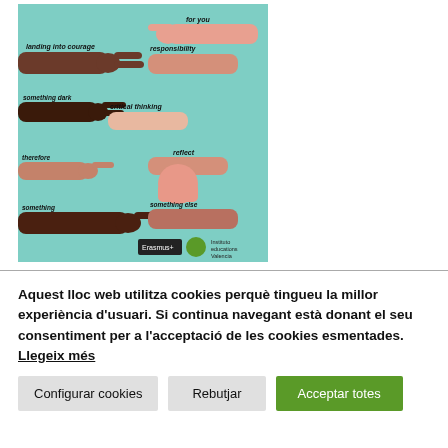[Figure (illustration): Colorful illustration on teal/mint background showing multiple diverse hands and arms reaching in various directions, with words written on the arms such as 'leading into courage', 'for you', 'responsibility', 'critical thinking', 'therefore', 'reflect', 'Erasmus+' logo and a green circular logo in the bottom right corner.]
Aquest lloc web utilitza cookies perquè tingueu la millor experiència d'usuari. Si continua navegant està donant el seu consentiment per a l'acceptació de les cookies esmentades. Llegeix més